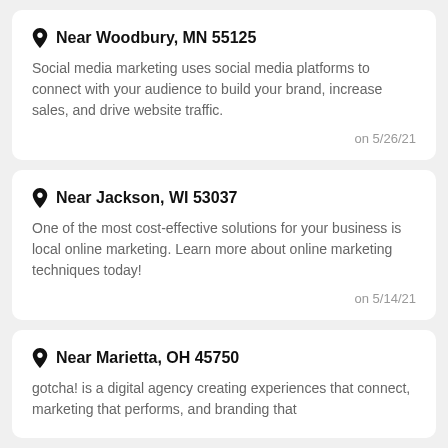Near Woodbury, MN 55125
Social media marketing uses social media platforms to connect with your audience to build your brand, increase sales, and drive website traffic.
on 5/26/21
Near Jackson, WI 53037
One of the most cost-effective solutions for your business is local online marketing. Learn more about online marketing techniques today!
on 5/14/21
Near Marietta, OH 45750
gotcha! is a digital agency creating experiences that connect, marketing that performs, and branding that